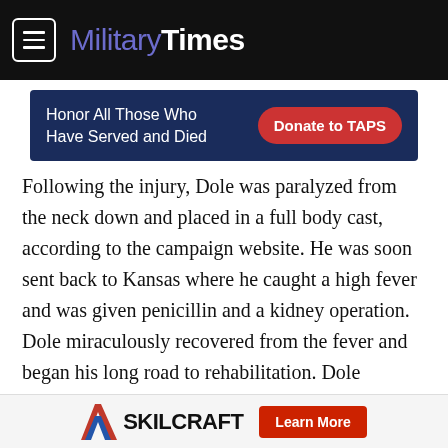Military Times
[Figure (infographic): Advertisement banner: 'Honor All Those Who Have Served and Died' with a 'Donate to TAPS' red button on dark blue background]
Following the injury, Dole was paralyzed from the neck down and placed in a full body cast, according to the campaign website. He was soon sent back to Kansas where he caught a high fever and was given penicillin and a kidney operation. Dole miraculously recovered from the fever and began his long road to rehabilitation. Dole received two Purple Hearts and two Bronze Stars for Valor among other honors to his military achievements and sacrifices.
[Figure (infographic): Advertisement banner: SKILCRAFT logo with Learn More red button]